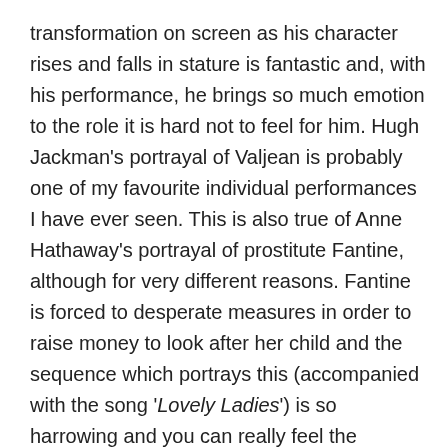transformation on screen as his character rises and falls in stature is fantastic and, with his performance, he brings so much emotion to the role it is hard not to feel for him. Hugh Jackman's portrayal of Valjean is probably one of my favourite individual performances I have ever seen. This is also true of Anne Hathaway's portrayal of prostitute Fantine, although for very different reasons. Fantine is forced to desperate measures in order to raise money to look after her child and the sequence which portrays this (accompanied with the song 'Lovely Ladies') is so harrowing and you can really feel the despair and desperation of the character. I am slightly disappointed that Russell Crowe wasn't nominated for an Oscar for his performance: even though he plays the villain I thought Crowe made Javert reluctantly likeable and I was really impressed by his singing too.